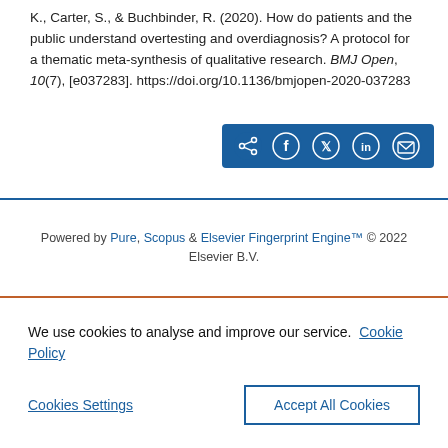K., Carter, S., & Buchbinder, R. (2020). How do patients and the public understand overtesting and overdiagnosis? A protocol for a thematic meta-synthesis of qualitative research. BMJ Open, 10(7), [e037283]. https://doi.org/10.1136/bmjopen-2020-037283
[Figure (other): Social share button bar with share, Facebook, Twitter, LinkedIn, and email icons on a dark blue background]
Powered by Pure, Scopus & Elsevier Fingerprint Engine™ © 2022 Elsevier B.V.
We use cookies to analyse and improve our service. Cookie Policy
Cookies Settings   Accept All Cookies